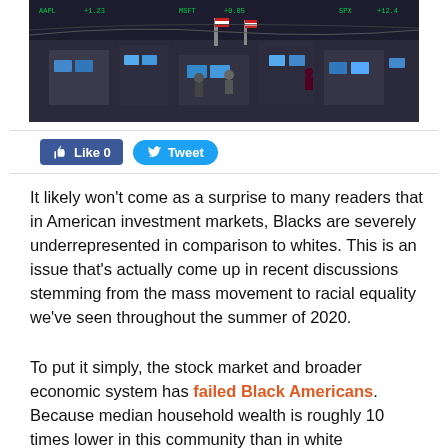[Figure (photo): Aerial view of a busy stock exchange trading floor with monitors, equipment, and American flags visible]
[Figure (other): Social media buttons: Facebook Like (0) and Twitter Tweet]
It likely won't come as a surprise to many readers that in American investment markets, Blacks are severely underrepresented in comparison to whites. This is an issue that's actually come up in recent discussions stemming from the mass movement to racial equality we've seen throughout the summer of 2020.
To put it simply, the stock market and broader economic system has failed Black Americans. Because median household wealth is roughly 10 times lower in this community than in white communities,